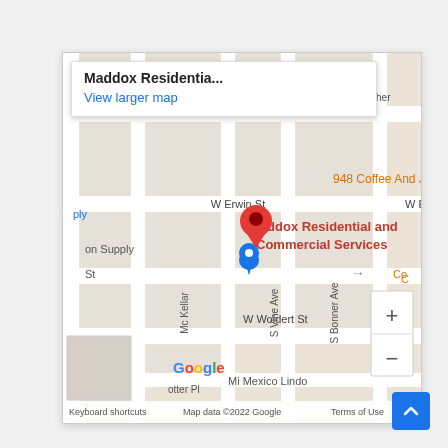[Figure (map): Google Maps screenshot showing location of Maddox Residential and Commercial Services on W Erwin St, Tyler TX area. Map shows surrounding streets including S Vine Ave, S Bonner Ave, W Woldert St, Mc Kellar. Red location pin marks the business. Popup shows 'Maddox Residentia...' with 'View larger map' link. Google logo, keyboard shortcuts, map data copyright 2022 Google, Terms of Use shown at bottom. Zoom in/out controls visible at right. Blue location pin for nearby supply store visible. Mexico Lindo restaurant label visible.]
[Figure (other): Blue back-to-top button with upward chevron arrow in the lower-right corner of the page]